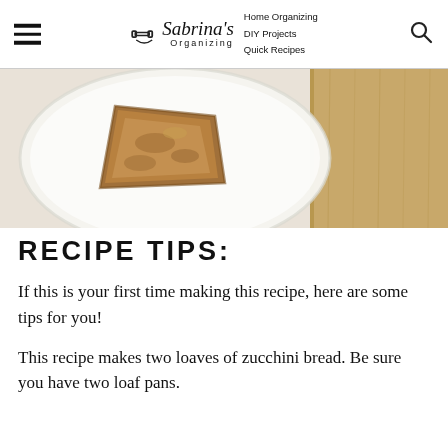Sabrina's Organizing | Home Organizing | DIY Projects | Quick Recipes
[Figure (photo): Overhead view of a slice of zucchini bread on a white plate next to a wooden cutting board on a light background]
RECIPE TIPS:
If this is your first time making this recipe, here are some tips for you!
This recipe makes two loaves of zucchini bread. Be sure you have two loaf pans.